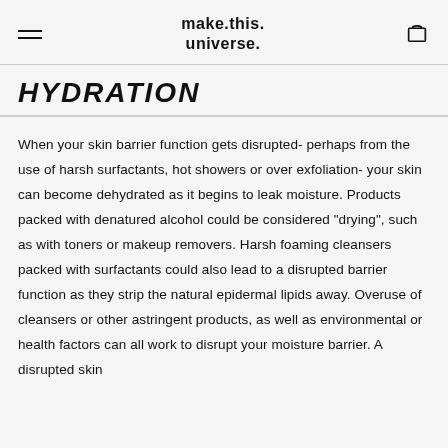make.this.universe.
HYDRATION
When your skin barrier function gets disrupted- perhaps from the use of harsh surfactants, hot showers or over exfoliation- your skin can become dehydrated as it begins to leak moisture. Products packed with denatured alcohol could be considered “drying”, such as with toners or makeup removers. Harsh foaming cleansers packed with surfactants could also lead to a disrupted barrier function as they strip the natural epidermal lipids away. Overuse of cleansers or other astringent products, as well as environmental or health factors can all work to disrupt your moisture barrier. A disrupted skin